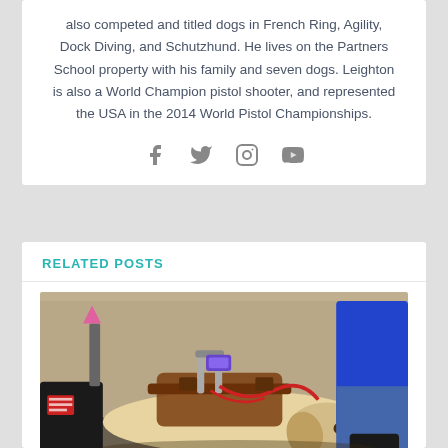also competed and titled dogs in French Ring, Agility, Dock Diving, and Schutzhund. He lives on the Partners School property with his family and seven dogs. Leighton is also a World Champion pistol shooter, and represented the USA in the 2014 World Pistol Championships.
[Figure (other): Social media icons: Facebook, Twitter, Instagram, YouTube]
RELATED POSTS
[Figure (photo): A yellow Labrador guide dog wearing a brown harness with equipment, lying down next to a person in jeans and black boots, with a blue jacket visible.]